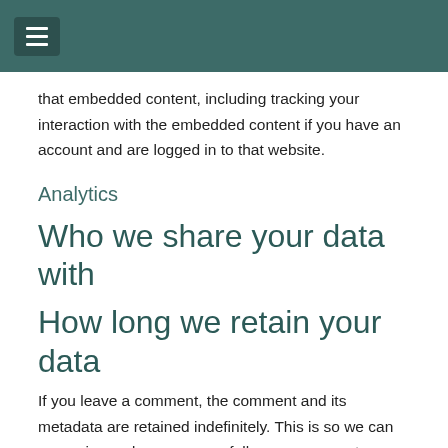that embedded content, including tracking your interaction with the embedded content if you have an account and are logged in to that website.
Analytics
Who we share your data with
How long we retain your data
If you leave a comment, the comment and its metadata are retained indefinitely. This is so we can recognize and approve any follow-up comments automatically instead of holding them in a moderation queue.
For users that register on our website (if any), we also store the